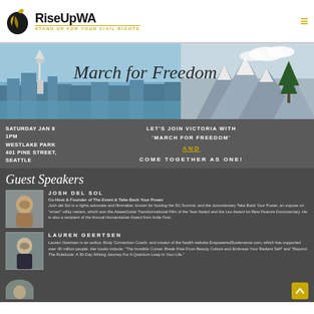[Figure (logo): RiseUpWA logo with apple/leaf icon and tagline STAND UP FOR YOUR CIVIL RIGHTS]
[Figure (photo): March for Freedom banner showing Seattle Space Needle skyline on left and mountain landscape on right with cursive March for Freedom text]
SATURDAY JAN 8
1PM
WESTLAKE PARK
401 PINE STREET,
SEATTLE
LET'S JOIN VICTORIA WITH 'MARCH FOR FREEDOM' AND COME TOGETHER AS ONE!
Guest Speakers
JOSH DEL SOL
Co-Host & Founder of The Event & Take Back Your Power
Josh del Sol is a rights advocate and filmmaker, known for hosting the 5G Summit, and the documentary Take Back Your Power, an expose on "smart" utility meters, which won the AwareGuide Transformational Film of the Year Award and the Leo Award for Best Feature Documentary. He is also a recipient of the Annual Humanitarian Award from Indie Fest.
LAUREN GEERTSEN
Lauren Geertsen is an author, Body Connection Coach, and creator of the health website EmpoweredSustenance.com, which has supported over 40 million people. Her books include, "The Invisible Corset: Break Free From Beauty Culture and Embrace Your Radiant Self" and "Beyond The Rulebook: A 30-Day Writing Journey For A Quantum Leap In Your Life."